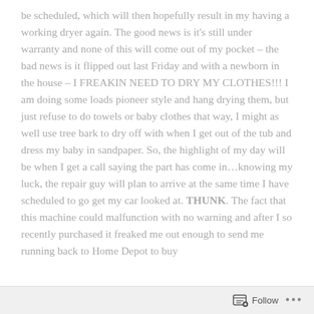be scheduled, which will then hopefully result in my having a working dryer again. The good news is it's still under warranty and none of this will come out of my pocket – the bad news is it flipped out last Friday and with a newborn in the house – I FREAKIN NEED TO DRY MY CLOTHES!!! I am doing some loads pioneer style and hang drying them, but just refuse to do towels or baby clothes that way, I might as well use tree bark to dry off with when I get out of the tub and dress my baby in sandpaper. So, the highlight of my day will be when I get a call saying the part has come in…knowing my luck, the repair guy will plan to arrive at the same time I have scheduled to go get my car looked at. THUNK. The fact that this machine could malfunction with no warning and after I so recently purchased it freaked me out enough to send me running back to Home Depot to buy
Follow ···